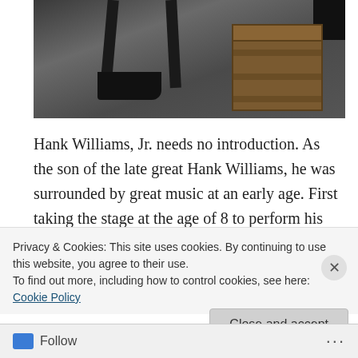[Figure (photo): Dark atmospheric photo showing chair legs, a black shoe/foot, and a wooden crate on a dark floor background]
Hank Williams, Jr. needs no introduction. As the son of the late great Hank Williams, he was surrounded by great music at an early age. First taking the stage at the age of 8 to perform his father's songs, his early career was guided by his mother Audry Williams who is also said to been a
Privacy & Cookies: This site uses cookies. By continuing to use this website, you agree to their use.
To find out more, including how to control cookies, see here: Cookie Policy
Close and accept
Follow